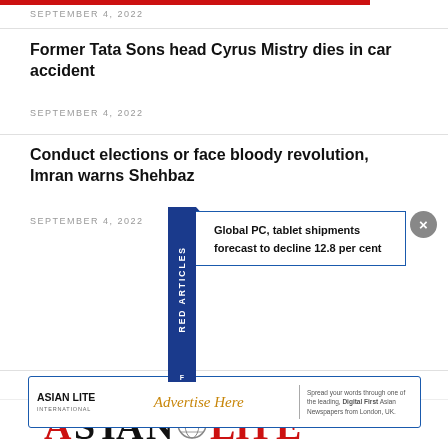SEPTEMBER 4, 2022
Former Tata Sons head Cyrus Mistry dies in car accident
SEPTEMBER 4, 2022
Conduct elections or face bloody revolution, Imran warns Shehbaz
SEPTEMBER 4, 2022
[Figure (infographic): Featured Articles popup with blue sidebar label and article teaser: 'Global PC, tablet shipments forecast to decline 12.8 per cent', with close button]
[Figure (infographic): Asian Lite International advertisement banner: 'Advertise Here — Spread your words through one of the leading, Digital First Asian Newspapers from London, UK.']
[Figure (logo): Asian Lite International logo in large red and black letters at bottom of page]